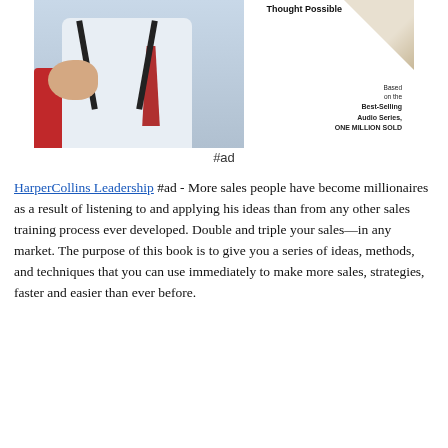[Figure (photo): Book cover image showing a man in a white shirt, red patterned tie and black suspenders, pointing at the viewer. Text reads 'Thought Possible', 'Based on the Best-Selling Audio Series, ONE MILLION SOLD'. Red chair visible in background. Page curl effect on upper right.]
#ad
HarperCollins Leadership #ad - More sales people have become millionaires as a result of listening to and applying his ideas than from any other sales training process ever developed. Double and triple your sales—in any market. The purpose of this book is to give you a series of ideas, methods, and techniques that you can use immediately to make more sales, strategies, faster and easier than ever before.